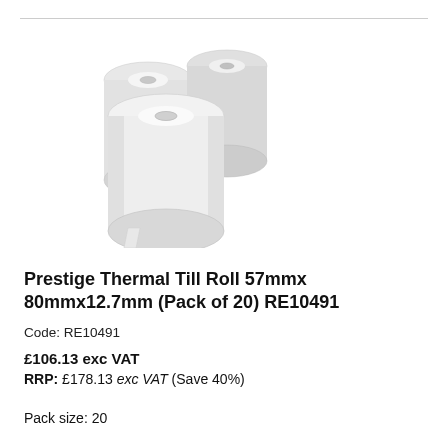[Figure (photo): Three white thermal paper rolls arranged in a group, showing cylindrical rolls with paper tape visible at the bottom.]
Prestige Thermal Till Roll 57mmx 80mmx12.7mm (Pack of 20) RE10491
Code: RE10491
£106.13 exc VAT
RRP: £178.13 exc VAT (Save 40%)
Pack size: 20